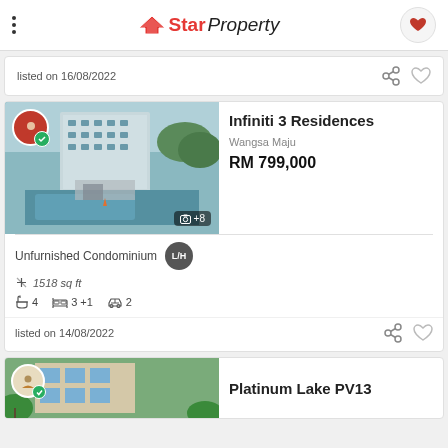StarProperty
listed on 16/08/2022
[Figure (photo): Condominium building with pool — Infiniti 3 Residences listing image with +8 photos badge]
Infiniti 3 Residences
Wangsa Maju
RM 799,000
Unfurnished Condominium L/H
1518 sq ft
4  3+1  2
listed on 14/08/2022
[Figure (photo): Apartment building — Platinum Lake PV13 partial listing]
Platinum Lake PV13